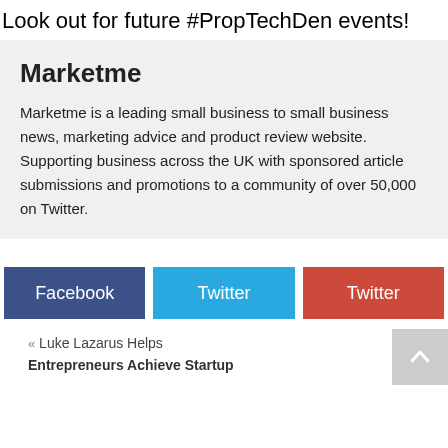Look out for future #PropTechDen events!
Marketme
Marketme is a leading small business to small business news, marketing advice and product review website. Supporting business across the UK with sponsored article submissions and promotions to a community of over 50,000 on Twitter.
[Figure (infographic): Three social share buttons side by side: Facebook (dark blue), Twitter (light blue), Twitter (red/orange)]
« Luke Lazarus Helps Entrepreneurs Achieve Startup